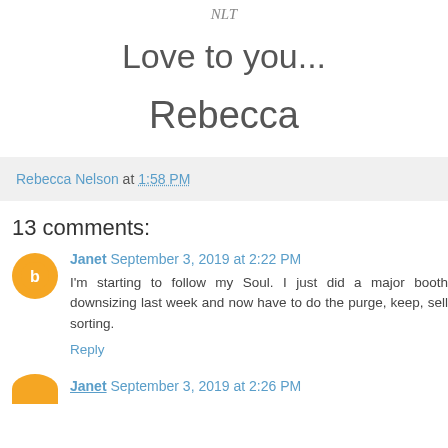NLT
Love to you...
Rebecca
Rebecca Nelson at 1:58 PM
13 comments:
Janet  September 3, 2019 at 2:22 PM
I'm starting to follow my Soul. I just did a major booth downsizing last week and now have to do the purge, keep, sell sorting.
Reply
Janet  September 3, 2019 at 2:26 PM